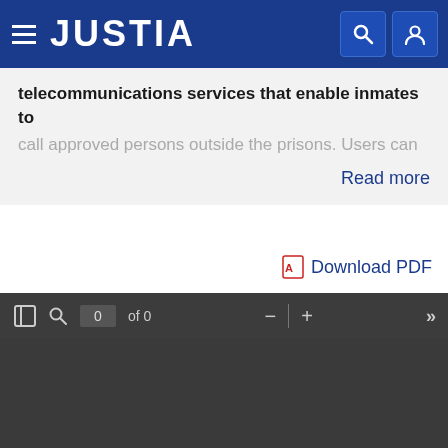JUSTIA
telecommunications services that enable inmates to call approved persons outside the prisons. Users can
Read more
Download PDF
[Figure (screenshot): PDF viewer toolbar showing page navigation controls: panel toggle, search, page input showing '0 of 0', zoom out, zoom in, and forward navigation buttons on a dark gray background. Below is an empty dark gray PDF viewing area.]